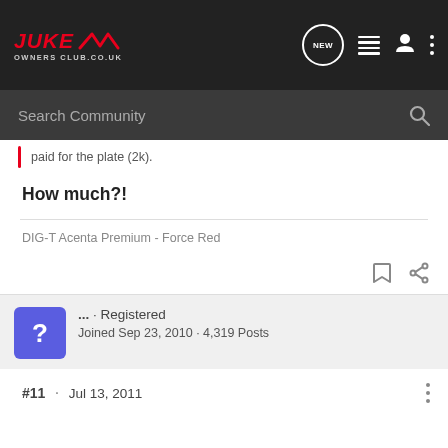JUKE Owners Club Co.UK — navigation header with search bar
paid for the plate (2k).
How much?!
DIG-T Acenta Premium - Force Red
... · Registered
Joined Sep 23, 2010 · 4,319 Posts
#11 · Jul 13, 2011